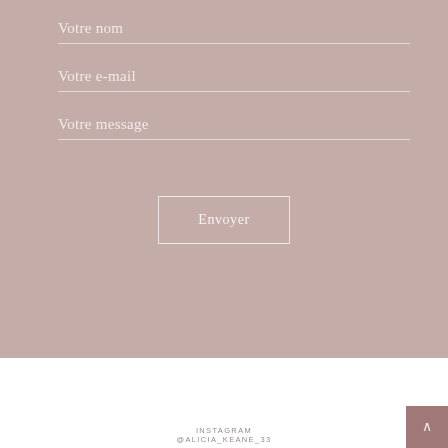Votre nom
Votre e-mail
Votre message
Envoyer
INSTAGRAM
@ALICIA_KEANE_33